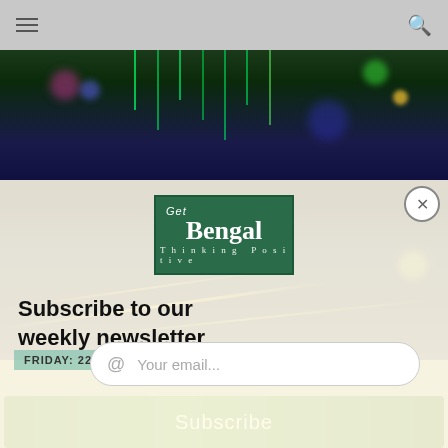Navigation bar with hamburger menu and search icon
[Figure (photo): Night city street scene with colorful lights, Christmas decorations, and light streaks from traffic]
[Figure (logo): Get Bengal - Thinking Positive logo on dark green background]
Subscribe to our weekly newsletter
FRIDAY: 22 DECEMBER
Your email...
[Figure (screenshot): Subscribe button on green background]